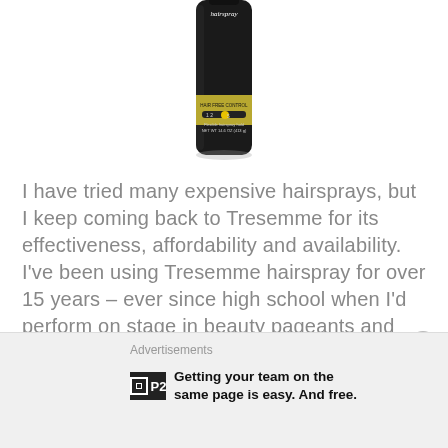[Figure (photo): A black cylindrical hairspray can (TRESemmé hairspray) with gold label band. Partially cropped at top. Shows 'HAIR FREE CONTROL' text and '1 2 3 4 5' scale. Net weight 14.6 oz (413 g).]
I have tried many expensive hairsprays, but I keep coming back to Tresemme for its effectiveness, affordability and availability. I've been using Tresemme hairspray for over 15 years – ever since high school when I'd perform on stage in beauty pageants and dance contests!
Advertisements
Getting your team on the same page is easy. And free.